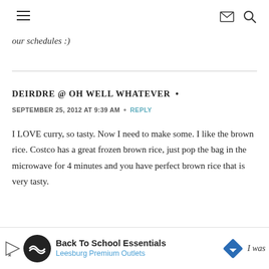Navigation bar with hamburger menu, envelope icon, and search icon
our schedules :)
DEIRDRE @ OH WELL WHATEVER • SEPTEMBER 25, 2012 AT 9:39 AM • REPLY
I LOVE curry, so tasty. Now I need to make some. I like the brown rice. Costco has a great frozen brown rice, just pop the bag in the microwave for 4 minutes and you have perfect brown rice that is very tasty.
[Figure (screenshot): Advertisement banner for Back To School Essentials - Leesburg Premium Outlets with play button, logo circle, and diamond navigation icon. Partial text 'I was' visible on right.]